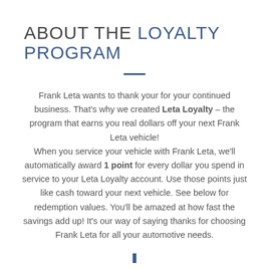ABOUT THE LOYALTY PROGRAM
Frank Leta wants to thank your for your continued business. That's why we created Leta Loyalty – the program that earns you real dollars off your next Frank Leta vehicle! When you service your vehicle with Frank Leta, we'll automatically award 1 point for every dollar you spend in service to your Leta Loyalty account. Use those points just like cash toward your next vehicle. See below for redemption values. You'll be amazed at how fast the savings add up! It's our way of saying thanks for choosing Frank Leta for all your automotive needs.